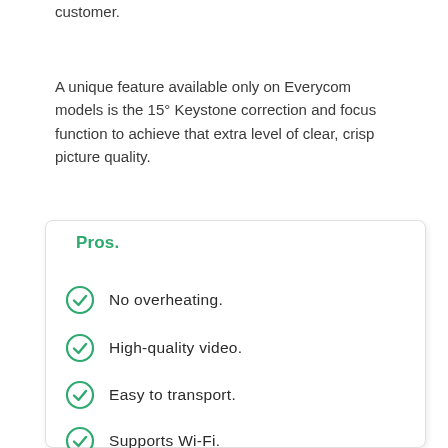it will satisfy the needs of even the most demanding customer.
A unique feature available only on Everycom models is the 15° Keystone correction and focus function to achieve that extra level of clear, crisp picture quality.
Pros.
No overheating.
High-quality video.
Easy to transport.
Supports Wi-Fi.
Cons.